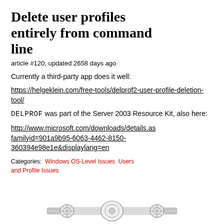Delete user profiles entirely from command line
article #120, updated 2658 days ago
Currently a third-party app does it well:
https://helgeklein.com/free-tools/delprof2-user-profile-deletion-tool/
DELPROF was part of the Server 2003 Resource Kit, also here:
http://www.microsoft.com/downloads/details.aspx?familyid=901a9b95-6063-4462-8150-360394e98e1e&displaylang=en
Categories:  Windows OS-Level Issues  Users and Profile Issues
[Figure (illustration): Decorative ornament/divider at the bottom of the page]